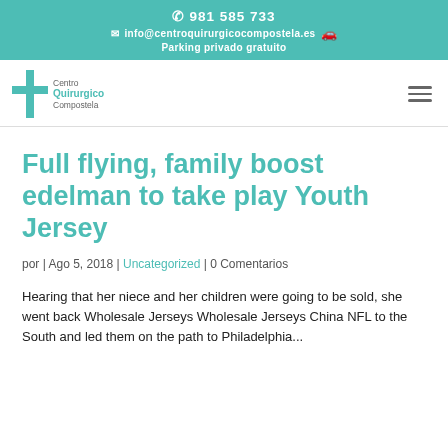☎ 981 585 733
✉ info@centroquirurgicocompostela.es  🚗
Parking privado gratuito
[Figure (logo): Centro Quirurgico Compostela logo with teal cross and text]
Full flying, family boost edelman to take play Youth Jersey
por | Ago 5, 2018 | Uncategorized | 0 Comentarios
Hearing that her niece and her children were going to be sold, she went back Wholesale Jerseys Wholesale Jerseys China NFL to the South and led them on the path to Philadelphia...